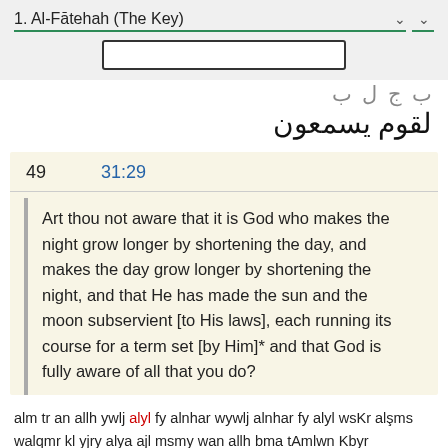1. Al-Fātehah (The Key)
[Figure (screenshot): Dropdown select box and search input field in a web interface]
لقوم يسمعون (partial Arabic text above)
49   31:29
Art thou not aware that it is God who makes the night grow longer by shortening the day, and makes the day grow longer by shortening the night, and that He has made the sun and the moon subservient [to His laws], each running its course for a term set [by Him]* and that God is fully aware of all that you do?
alm tr an allh ywlj alyl fy alnhar wywlj alnhar fy alyl wsKr alşms walqmr kl yjry alya ajl msmy wan allh bma tAmlwn Kbyr